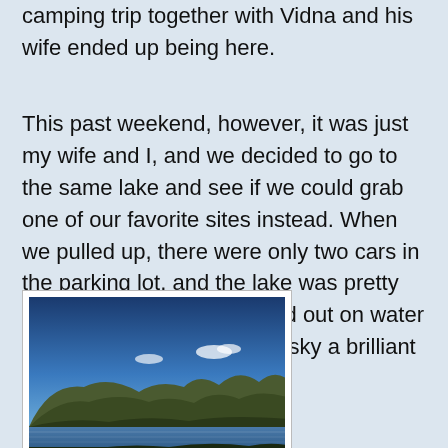camping trip together with Vidna and his wife ended up being here.
This past weekend, however, it was just my wife and I, and we decided to go to the same lake and see if we could grab one of our favorite sites instead. When we pulled up, there were only two cars in the parking lot, and the lake was pretty much deserted. We paddled out on water that was glass smooth, the sky a brilliant blue:
[Figure (photo): Outdoor landscape photo showing a blue sky with a few small white clouds over a forested mountain range, with a calm lake or water body in the foreground reflecting the scenery.]